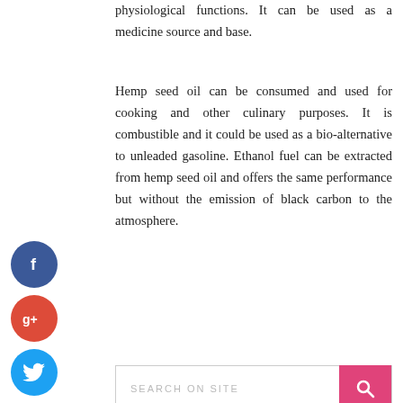physiological functions. It can be used as a medicine source and base.
Hemp seed oil can be consumed and used for cooking and other culinary purposes. It is combustible and it could be used as a bio-alternative to unleaded gasoline. Ethanol fuel can be extracted from hemp seed oil and offers the same performance but without the emission of black carbon to the atmosphere.
[Figure (infographic): Social media sharing icons: Facebook (blue circle with f), Google+ (red circle with g+), Twitter (blue circle with bird), Plus/share (dark circle with +)]
[Figure (screenshot): Search bar with placeholder text SEARCH ON SITE and pink/magenta search button with magnifying glass icon]
CATEGORIES